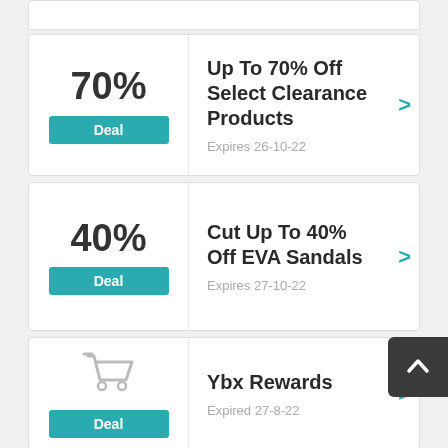70%
Deal
Up To 70% Off Select Clearance Products
Expires 26-10-22
40%
Deal
Cut Up To 40% Off EVA Sandals
Expires 27-10-22
[Figure (illustration): Shopping cart icon]
Deal
Ybx Rewards
Expired 27-8-22